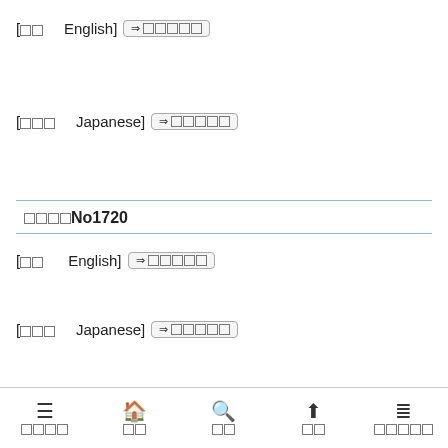[□□    English] ⇒ □□□□□
[□□□    Japanese] ⇒ □□□□□
□□□□No1720
[□□    English] ⇒ □□□□□
[□□□    Japanese] ⇒ □□□□□
≡ □□□□  🏠 □□  🔍 □  ⬆ □□  ☰ □□□□□